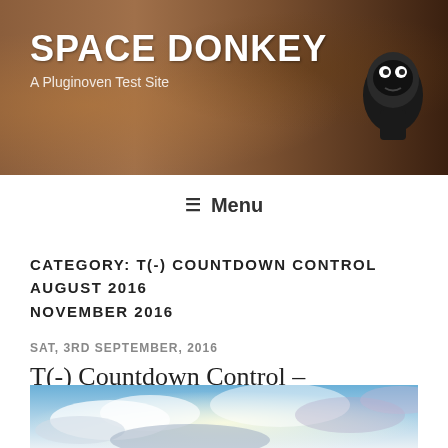SPACE DONKEY
A Pluginoven Test Site
Menu
CATEGORY: T(-) COUNTDOWN CONTROL AUGUST 2016 NOVEMBER 2016
SAT, 3RD SEPTEMBER, 2016
T(-) Countdown Control – Calculating Labor Day & Other Holidays
[Figure (photo): Sky with clouds, sunlight breaking through]